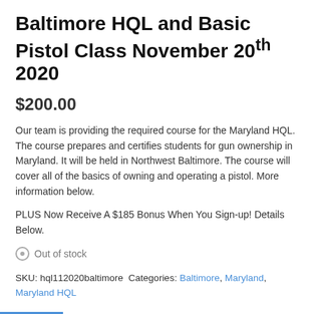Baltimore HQL and Basic Pistol Class November 20th 2020
$200.00
Our team is providing the required course for the Maryland HQL. The course prepares and certifies students for gun ownership in Maryland. It will be held in Northwest Baltimore. The course will cover all of the basics of owning and operating a pistol. More information below.
PLUS Now Receive A $185 Bonus When You Sign-up! Details Below.
Out of stock
SKU: hql112020baltimore Categories: Baltimore, Maryland, Maryland HQL